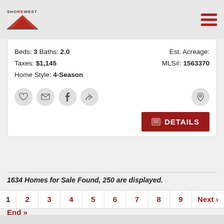Shorewest header with logo and hamburger menu
Beds: 3 Baths: 2.0
Taxes: $1,145
Home Style: 4-Season
Est. Acreage:
MLS#: 1563370
[Figure (screenshot): Icon buttons row: heart, envelope, facebook, share, and location pin]
[Figure (other): DETAILS button in red]
1634 Homes for Sale Found, 250 are displayed.
Pagination: 1 2 3 4 5 6 7 8 9 Next »
End »